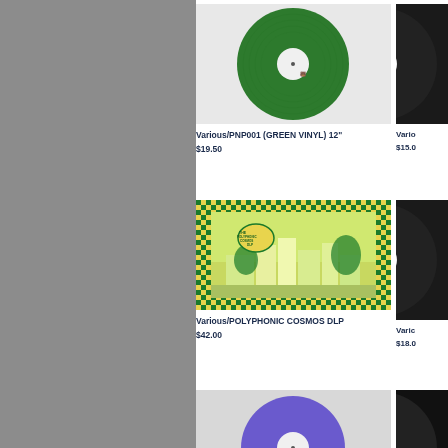[Figure (photo): Green vinyl record with white label center on light gray background]
Various/PNP001 (GREEN VINYL) 12"
$19.50
[Figure (photo): Partially visible black vinyl record (right side cropped)]
Vario
$15.0
[Figure (photo): Colorful checkerboard pattern album cover for Polyphonic Cosmos DLP with green and yellow checkered border and city scene artwork]
Various/POLYPHONIC COSMOS DLP
$42.00
[Figure (photo): Partially visible black vinyl record (right side cropped)]
Varic
$18.0
[Figure (photo): Partially visible vinyl record at bottom of page (cropped)]
[Figure (photo): Partially visible black vinyl record at bottom right (cropped)]